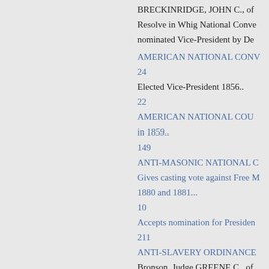BRECKINRIDGE, JOHN C., of
Resolve in Whig National Conve
nominated Vice-President by De
AMERICAN NATIONAL CONV
24
Elected Vice-President 1856..
22
AMERICAN NATIONAL COU
in 1859..
149
ANTI-MASONIC NATIONAL C
Gives casting vote against Free M
1880 and 1881...
10
Accepts nomination for Presiden
211
ANTI-SLAVERY ORDINANCE
Bronson, Judge GREENE C., of